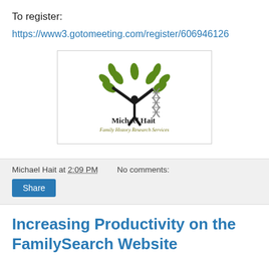To register:
https://www3.gotomeeting.com/register/606946126
[Figure (logo): Michael Hait Family History Research Services logo — a stylized human figure with arms raised, surrounded by green leaves forming a tree, with a DNA helix on the right side. Text: 'Michael Hait' in dark serif font and 'Family History Research Services' in olive/gold italic font below.]
Michael Hait at 2:09 PM   No comments:
Share
Increasing Productivity on the FamilySearch Website